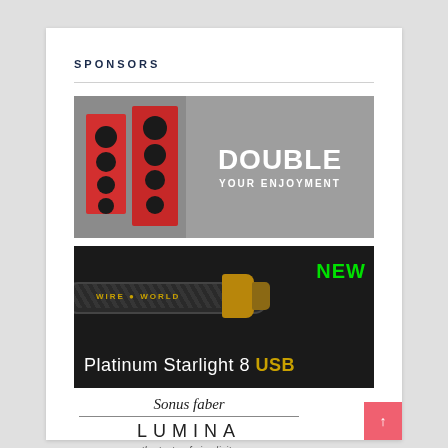SPONSORS
[Figure (advertisement): Ad for audio speakers showing two red tower speakers on gray background with text DOUBLE YOUR ENJOYMENT]
[Figure (advertisement): Ad for Wireworld Platinum Starlight 8 USB cable showing braided cable with gold USB connector on dark background, labeled NEW in green]
[Figure (advertisement): Sonus faber LUMINA - the taste of simplicity logo/brand ad]